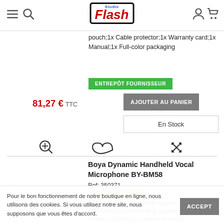Studio Flash — navigation header with hamburger, search, logo, user, cart icons
pouch;1x Cable protector;1x Warranty card;1x Manual;1x Full-color packaging
ENTREPÔT FOURNISSEUR
81,27 € TTC
AJOUTER AU PANIER
En Stock
Boya Dynamic Handheld Vocal Microphone BY-BM58
Ref: 350371
EXCLUSIVITÉ WEB !
1x Boya Handheld Vocal Microphone BY-BM58;1x XLR Female-to-6.5mm Male adapter cable (5 meters);1x Tilting microphone mount;1x
Pour le bon fonctionnement de notre boutique en ligne, nous utilisons des cookies. Si vous utilisez notre site, nous supposons que vous êtes d'accord.
ACCEPT